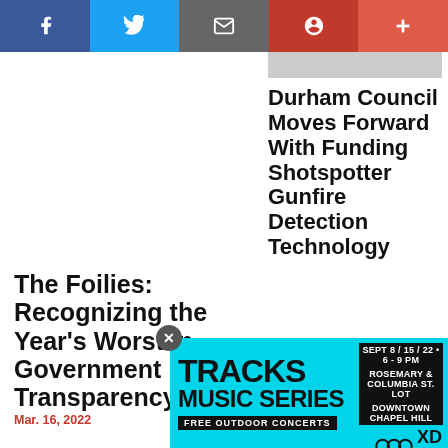[Figure (infographic): Social share bar with Facebook, Twitter, Email, Pinterest, and plus buttons]
Durham Council Moves Forward With Funding Shotspotter Gunfire Detection Technology
Mar. 07, 2022
The Foilies: Recognizing the Year's Worst in Government Transparency
Mar. 16, 2022
[Figure (infographic): Tracks Music Series advertisement. SEPT 8/15/22 · 6–9 PM, Rosemary & Columbia St. Lot, Downtown Chapel Hill. Free Outdoor Concerts. Community Arts & Culture / XDCH logos.]